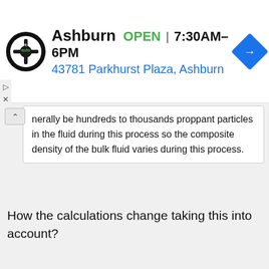[Figure (infographic): Ad banner for a tire and auto shop in Ashburn showing logo, OPEN status, hours 7:30AM-6PM, and address 43781 Parkhurst Plaza, Ashburn]
nerally be hundreds to thousands proppant particles in the fluid during this process so the composite density of the bulk fluid varies during this process.
How the calculations change taking this into account?
Reply
Jun 14, 2018  #15
Chestermiller
Mentor